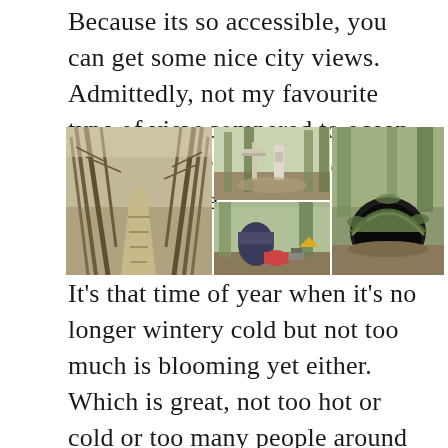Because its so accessible, you can get some nice city views. Admittedly, not my favourite type of view compared to ocean or mountain range but, hey, variety is nice.
[Figure (photo): A collage of four hiking trail photos: left - a forest path lined with bare twisted trees; top center - stone markers/trail signs in a forest; bottom center - camping/picnic items on a forest clearing; right - a mossy cave or tunnel entrance in a forested hillside]
It's that time of year when it's no longer wintery cold but not too much is blooming yet either. Which is great, not too hot or cold or too many people around ( I saw 5 people). Took a little coffee and lunch before continuing...